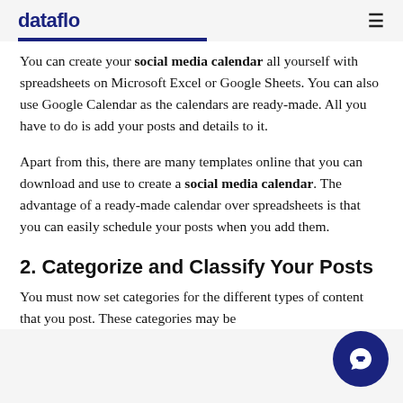dataflo
You can create your social media calendar all yourself with spreadsheets on Microsoft Excel or Google Sheets. You can also use Google Calendar as the calendars are ready-made. All you have to do is add your posts and details to it.
Apart from this, there are many templates online that you can download and use to create a social media calendar. The advantage of a ready-made calendar over spreadsheets is that you can easily schedule your posts when you add them.
2. Categorize and Classify Your Posts
You must now set categories for the different types of content that you post. These categories may be